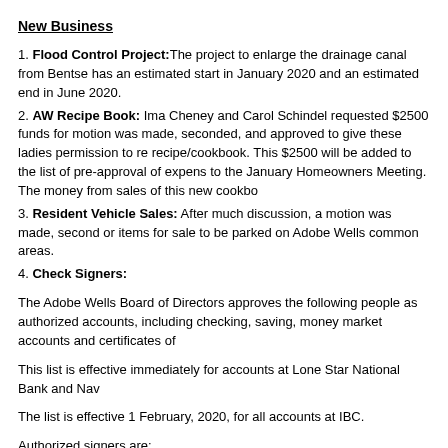New Business
1. Flood Control Project: The project to enlarge the drainage canal from Bentse has an estimated start in January 2020 and an estimated end in June 2020.
2. AW Recipe Book: Ima Cheney and Carol Schindel requested $2500 funds for motion was made, seconded, and approved to give these ladies permission to re recipe/cookbook. This $2500 will be added to the list of pre-approval of expens to the January Homeowners Meeting. The money from sales of this new cookbo
3. Resident Vehicle Sales: After much discussion, a motion was made, second or items for sale to be parked on Adobe Wells common areas.
4. Check Signers:
The Adobe Wells Board of Directors approves the following people as authorized accounts, including checking, saving, money market accounts and certificates of
This list is effective immediately for accounts at Lone Star National Bank and Nav
The list is effective 1 February, 2020, for all accounts at IBC.
Authorized signers are:
Arnold Dejoode
Harry Dellinger
Howard H...